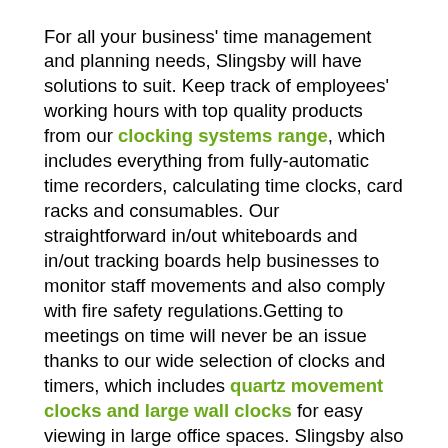For all your business' time management and planning needs, Slingsby will have solutions to suit. Keep track of employees' working hours with top quality products from our clocking systems range, which includes everything from fully-automatic time recorders, calculating time clocks, card racks and consumables. Our straightforward in/out whiteboards and in/out tracking boards help businesses to monitor staff movements and also comply with fire safety regulations.Getting to meetings on time will never be an issue thanks to our wide selection of clocks and timers, which includes quartz movement clocks and large wall clocks for easy viewing in large office spaces. Slingsby also stocks waterproof clocks which come with fully-sealed front and back panels for use in humid or damp areas.
Our time management and planning section also includes a variety of planning boards, including monthly and annual planners, card racks and document panels. Just get in touch with a member of the Slingsby team today to